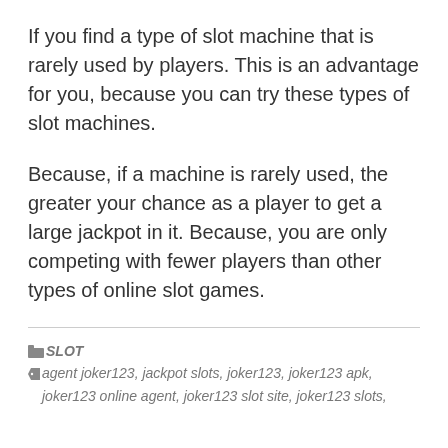If you find a type of slot machine that is rarely used by players. This is an advantage for you, because you can try these types of slot machines.
Because, if a machine is rarely used, the greater your chance as a player to get a large jackpot in it. Because, you are only competing with fewer players than other types of online slot games.
SLOT
agent joker123, jackpot slots, joker123, joker123 apk, joker123 online agent, joker123 slot site, joker123 slots,